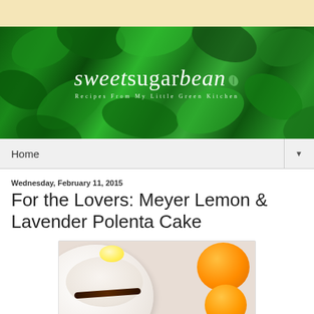[Figure (photo): Yellow/cream colored top banner bar]
[Figure (photo): Blog header banner with green leaves background and 'sweetsugarbeanbrand' logo text. Subtitle reads 'Recipes From My Little Green Kitchen']
Home ▼
Wednesday, February 11, 2015
For the Lovers: Meyer Lemon & Lavender Polenta Cake
[Figure (photo): Food photo showing a round white cake on a plate with a dark chocolate decoration, cut Meyer lemons/oranges on the side, and a colorful ribbon/cloth beneath]